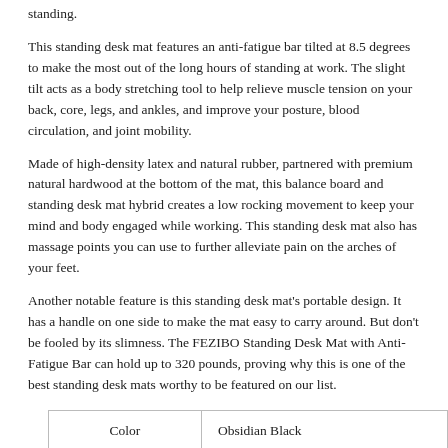standing.
This standing desk mat features an anti-fatigue bar tilted at 8.5 degrees to make the most out of the long hours of standing at work. The slight tilt acts as a body stretching tool to help relieve muscle tension on your back, core, legs, and ankles, and improve your posture, blood circulation, and joint mobility.
Made of high-density latex and natural rubber, partnered with premium natural hardwood at the bottom of the mat, this balance board and standing desk mat hybrid creates a low rocking movement to keep your mind and body engaged while working. This standing desk mat also has massage points you can use to further alleviate pain on the arches of your feet.
Another notable feature is this standing desk mat's portable design. It has a handle on one side to make the mat easy to carry around. But don't be fooled by its slimness. The FEZIBO Standing Desk Mat with Anti-Fatigue Bar can hold up to 320 pounds, proving why this is one of the best standing desk mats worthy to be featured on our list.
| Color | Material |
| --- | --- |
| Obsidian Black |
| Premium natural wood, high-density latex, natural rubber |